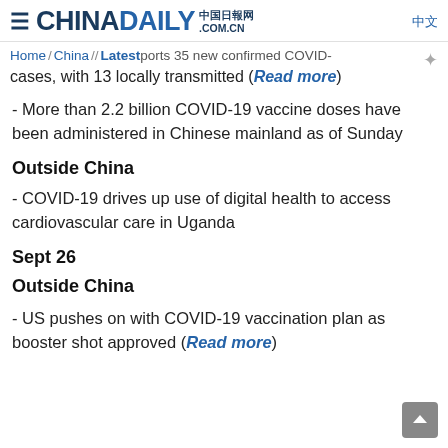CHINADAILY 中国日报网 .COM.CN 中文
Home / China / Latest …ports 35 new confirmed COVID-cases, with 13 locally transmitted (Read more)
- More than 2.2 billion COVID-19 vaccine doses have been administered in Chinese mainland as of Sunday
Outside China
- COVID-19 drives up use of digital health to access cardiovascular care in Uganda
Sept 26
Outside China
- US pushes on with COVID-19 vaccination plan as booster shot approved (Read more)